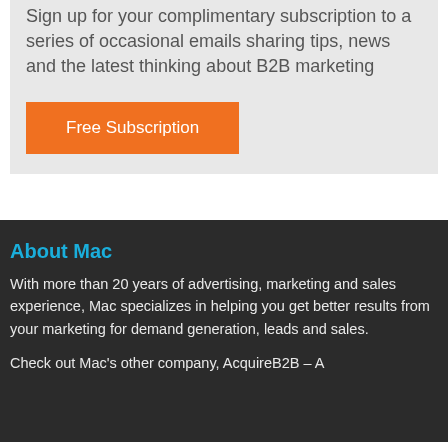Sign up for your complimentary subscription to a series of occasional emails sharing tips, news and the latest thinking about B2B marketing
Free Subscription
About Mac
With more than 20 years of advertising, marketing and sales experience, Mac specializes in helping you get better results from your marketing for demand generation, leads and sales.
Check out Mac's other company, AcquireB2B – A